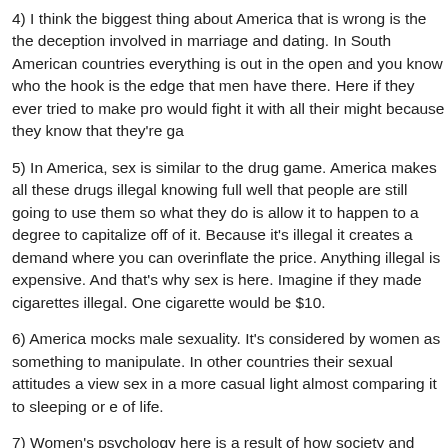4) I think the biggest thing about America that is wrong is the the deception involved in marriage and dating. In South American countries everything is out in the open and you know who the hook is the edge that men have there. Here if they ever tried to make pro would fight it with all their might because they know that they're ga
5) In America, sex is similar to the drug game. America makes all these drugs illegal knowing full well that people are still going to use them so what they do is allow it to happen to a degree to capitalize off of it. Because it's illegal it creates a demand where you can overinflate the price. Anything illegal is expensive. And that's why sex is here. Imagine if they made cigarettes illegal. One cigarette would be $10.
6) America mocks male sexuality. It's considered by women as something to manipulate. In other countries their sexual attitudes a view sex in a more casual light almost comparing it to sleeping or e of life.
7) Women's psychology here is a result of how society and men tre sexuality is giving so much attention here. Everything is about whe up or not, don't call the guy, don't kiss on the first date, play hard to Then comes the attitudes and the fakeness of the women; I hate ru and women. I work in a situtation where I'm in contact with people t and that alone changes my perspective. I look at these foriegn guy laugh with their mannerisms and shit. The point I'm trying to make i society and that is why the women are so rude. In a lot of other cou doesn't encourage rude behavior